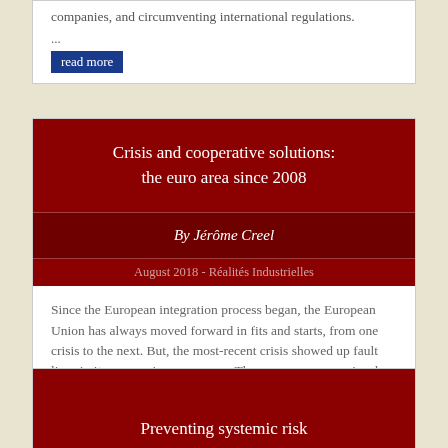companies, and circumventing international regulations.
...
read more
Crisis and cooperative solutions: the euro area since 2008
By Jérôme Creel
August 2018 - Réalités Industrielles
Since the European integration process began, the European Union has always moved forward in fits and starts, from one crisis to the next. But, the most-recent crisis showed up fault lines in its economic governance. The euro area was seriously affected by the US banking crisis which started in September 2008.
...
read more
Preventing systemic risk